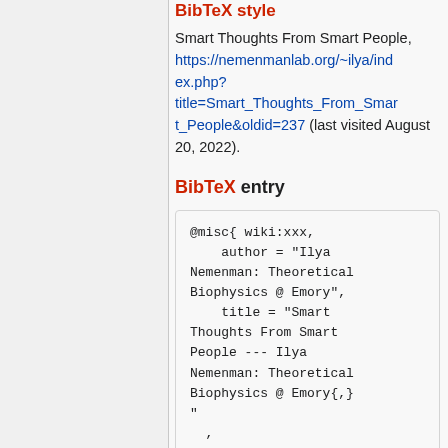BibTeX style
Smart Thoughts From Smart People, https://nemenmanlab.org/~ilya/index.php?title=Smart_Thoughts_From_Smart_People&oldid=237 (last visited August 20, 2022).
BibTeX entry
@misc{ wiki:xxx,
    author = "Ilya Nemenman: Theoretical Biophysics @ Emory",
    title = "Smart Thoughts From Smart People --- Ilya Nemenman: Theoretical Biophysics @ Emory{,}"
  ,
    year = "2018",